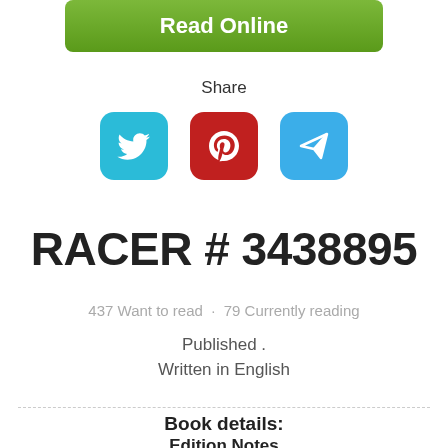[Figure (other): Green 'Read Online' button]
Share
[Figure (other): Social share icons: Twitter (blue), Pinterest (red), Send/Telegram (light blue)]
RACER # 3438895
437 Want to read  ·  79 Currently reading
Published .
Written in English
Book details:
Edition Notes